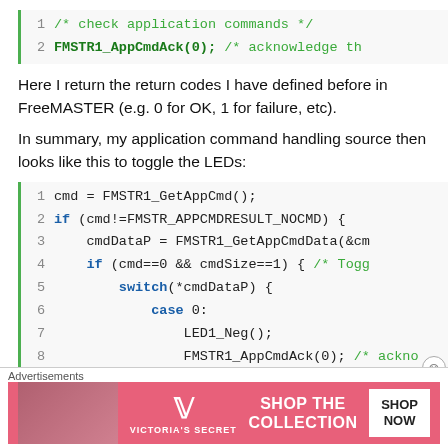[Figure (screenshot): Code snippet lines 1-2: comment and FMSTR1_AppCmdAck(0) call with green vertical bar on left]
Here I return the return codes I have defined before in FreeMASTER (e.g. 0 for OK, 1 for failure, etc).
In summary, my application command handling source then looks like this to toggle the LEDs:
[Figure (screenshot): Code snippet lines 1-9: cmd = FMSTR1_GetAppCmd(); if/switch/case block with green and blue keyword highlighting]
Advertisements
[Figure (other): Victoria's Secret advertisement banner: pink background, VS logo, SHOP THE COLLECTION text, SHOP NOW button]